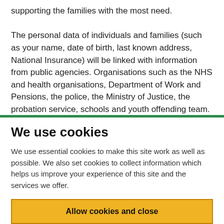supporting the families with the most need. The personal data of individuals and families (such as your name, date of birth, last known address, National Insurance) will be linked with information from public agencies. Organisations such as the NHS and health organisations, Department of Work and Pensions, the police, the Ministry of Justice, the probation service, schools and youth offending team. The data includes
We use cookies
We use essential cookies to make this site work as well as possible. We also set cookies to collect information which helps us improve your experience of this site and the services we offer.
Allow cookies and close
Cookie settings